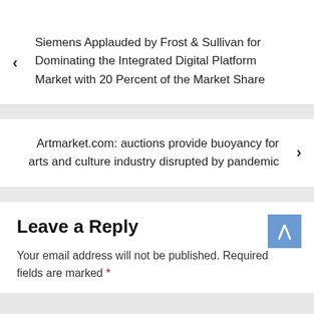‹ Siemens Applauded by Frost & Sullivan for Dominating the Integrated Digital Platform Market with 20 Percent of the Market Share
Artmarket.com: auctions provide buoyancy for arts and culture industry disrupted by pandemic ›
Leave a Reply
Your email address will not be published. Required fields are marked *